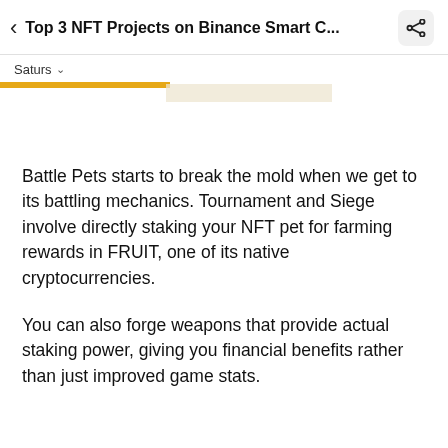Top 3 NFT Projects on Binance Smart C...
Saturs
Battle Pets starts to break the mold when we get to its battling mechanics. Tournament and Siege involve directly staking your NFT pet for farming rewards in FRUIT, one of its native cryptocurrencies.
You can also forge weapons that provide actual staking power, giving you financial benefits rather than just improved game stats.